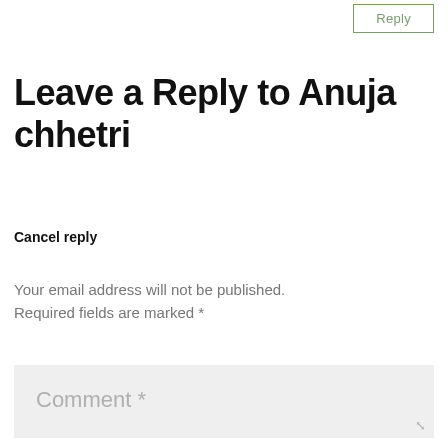Reply
Leave a Reply to Anuja chhetri
Cancel reply
Your email address will not be published. Required fields are marked *
Comment *